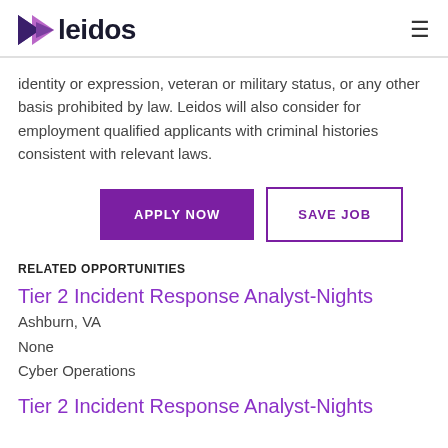leidos
identity or expression, veteran or military status, or any other basis prohibited by law. Leidos will also consider for employment qualified applicants with criminal histories consistent with relevant laws.
APPLY NOW | SAVE JOB
RELATED OPPORTUNITIES
Tier 2 Incident Response Analyst-Nights
Ashburn, VA
None
Cyber Operations
Tier 2 Incident Response Analyst-Nights